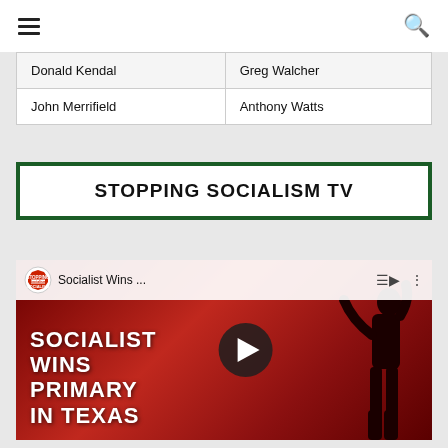Navigation bar with hamburger menu and search icon
| Donald Kendal | Greg Walcher |
| John Merrifield | Anthony Watts |
STOPPING SOCIALISM TV
[Figure (screenshot): YouTube video thumbnail showing 'Socialist Wins...' video with text 'SOCIALIST WINS PRIMARY IN TEXAS' over a dark red background with a silhouette of a person with raised arm]